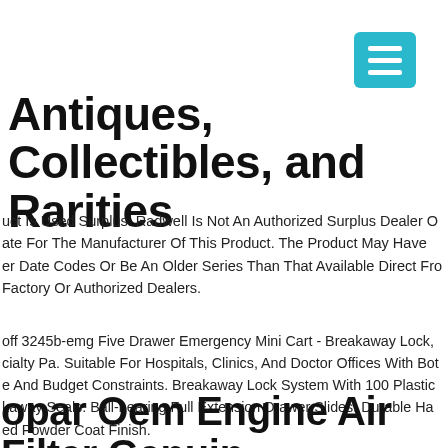[Figure (other): Teal/cyan hamburger menu button icon in top-right corner]
Antiques, Collectibles, and Rarities
uct Is Used Surplus. Radwell Is Not An Authorized Surplus Dealer Or Affiliate For The Manufacturer Of This Product. The Product May Have Older Date Codes Or Be An Older Series Than That Available Direct From The Factory Or Authorized Dealers.
off 3245b-emg Five Drawer Emergency Mini Cart - Breakaway Lock, Specialty Pa. Suitable For Hospitals, Clinics, And Doctor Offices With Both Space And Budget Constraints. Breakaway Lock System With 100 Plastic Breakaway Seals. Ball-bearing Full Extension Drawer Slides. Durable Hammered Powder Coat Finish.
opar Oem Engine Air Filter Genuine Dodge Caliber Jeep Compass 07-10 4891694aa